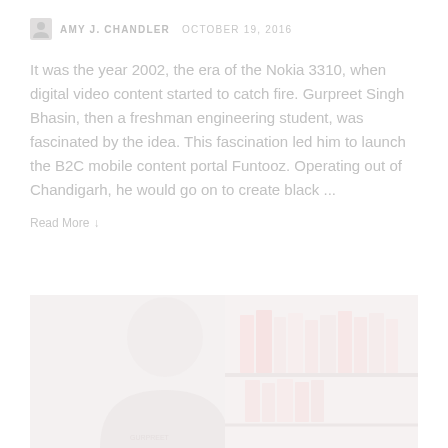AMY J. CHANDLER  OCTOBER 19, 2016
It was the year 2002, the era of the Nokia 3310, when digital video content started to catch fire. Gurpreet Singh Bhasin, then a freshman engineering student, was fascinated by the idea. This fascination led him to launch the B2C mobile content portal Funtooz. Operating out of Chandigarh, he would go on to create black ...
Read More
[Figure (photo): A faded/washed-out photo of a person (appears to be a woman with light hair) in front of bookshelves with colorful book spines visible on the right side.]